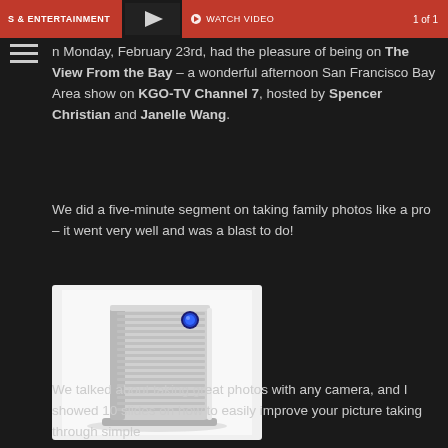[Figure (screenshot): Red banner/header from a TV entertainment website showing a video thumbnail area with '& ENTERTAINMENT' text, 'WATCH VIDEO' button, and '1 of 1' pagination]
n Monday, February 23rd, had the pleasure of being on The View From the Bay – a wonderful afternoon San Francisco Bay Area show on KGO-TV Channel 7, hosted by Spencer Christian and Janelle Wang.
We did a five-minute segment on taking family photos like a pro – it went very well and was a blast to do!
[Figure (photo): Photo of a LaCie external hard drive – a silver/aluminum ribbed rectangular device with a blue LED indicator button on the top right corner, sitting on a small stand]
We talked about taking great photos with any camera, and I showed 10 slides on how to easily improve your picture taking through simple